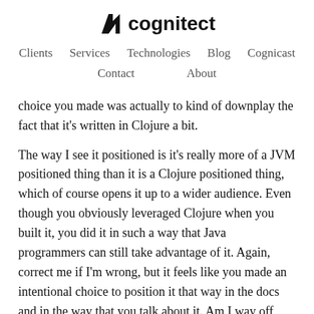cognitect
Clients   Services   Technologies   Blog   Cognicast   Contact   About
choice you made was actually to kind of downplay the fact that it's written in Clojure a bit.
The way I see it positioned is it's really more of a JVM positioned thing than it is a Clojure positioned thing, which of course opens it up to a wider audience. Even though you obviously leveraged Clojure when you built it, you did it in such a way that Java programmers can still take advantage of it. Again, correct me if I'm wrong, but it feels like you made an intentional choice to position it that way in the docs and in the way that you talk about it. Am I way off base, or is that what you decided to do?